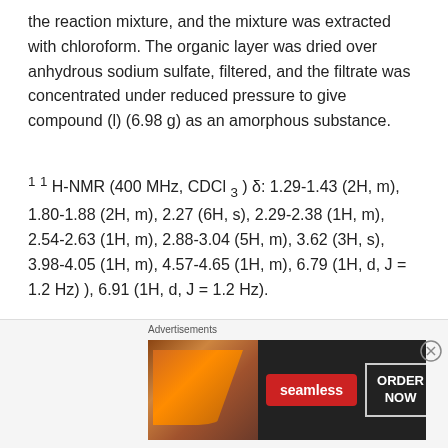the reaction mixture, and the mixture was extracted with chloroform. The organic layer was dried over anhydrous sodium sulfate, filtered, and the filtrate was concentrated under reduced pressure to give compound (l) (6.98 g) as an amorphous substance.
1 1 H-NMR (400 MHz, CDCl 3 ) δ: 1.29-1.43 (2H, m), 1.80-1.88 (2H, m), 2.27 (6H, s), 2.29-2.38 (1H, m), 2.54-2.63 (1H, m), 2.88-3.04 (5H, m), 3.62 (3H, s), 3.98-4.05 (1H, m), 4.57-4.65 (1H, m), 6.79 (1H, d, J = 1.2 Hz) ), 6.91 (1H, d, J = 1.2 Hz).
ESI-MS: m / z = 265 (M + H) + .
(Reference Example 5) Synthesis of crude 4-(dimethylamino) piperidine:
[Figure (photo): Advertisement banner for Seamless food delivery service showing pizza image, Seamless logo and ORDER NOW button]